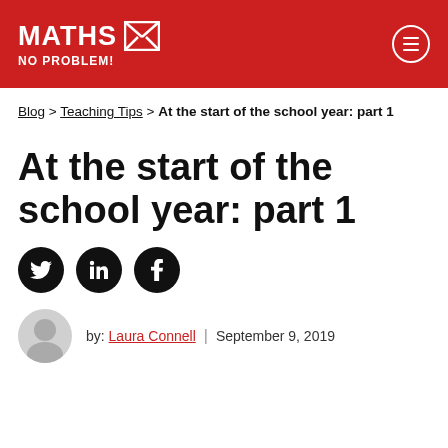MATHS NO PROBLEM!
Blog > Teaching Tips > At the start of the school year: part 1
At the start of the school year: part 1
[Figure (illustration): Social media share icons: Twitter, LinkedIn, Facebook — dark circular buttons]
by: Laura Connell | September 9, 2019